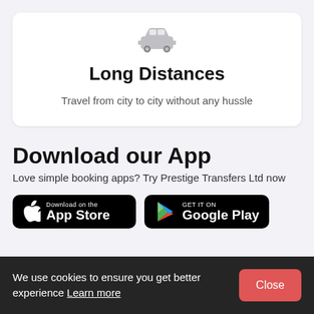[Figure (illustration): Car/taxi icon in gray]
Long Distances
Travel from city to city without any hussle
Download our App
Love simple booking apps? Try Prestige Transfers Ltd now
[Figure (logo): Download on the App Store button]
[Figure (logo): Get it on Google Play button]
We use cookies to ensure you get better experience Learn more